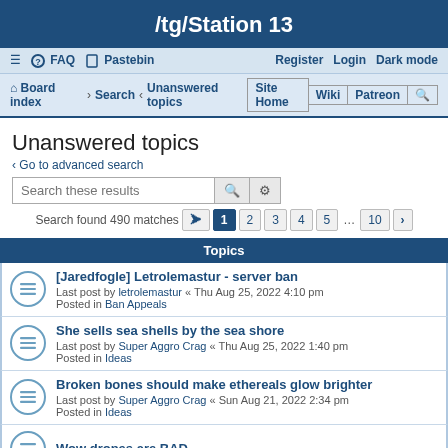/tg/Station 13
☰ FAQ Pastebin  Register Login Dark mode
Board index › Search › Unanswered topics   Site Home Wiki Patreon 🔍
Unanswered topics
‹ Go to advanced search
Search these results
Search found 490 matches  1 2 3 4 5 … 10 ›
Topics
[Jaredfogle] Letrolemastur - server ban
Last post by letrolemastur « Thu Aug 25, 2022 4:10 pm
Posted in Ban Appeals
She sells sea shells by the sea shore
Last post by Super Aggro Crag « Thu Aug 25, 2022 1:40 pm
Posted in Ideas
Broken bones should make ethereals glow brighter
Last post by Super Aggro Crag « Sun Aug 21, 2022 2:34 pm
Posted in Ideas
Wow drones are BAD